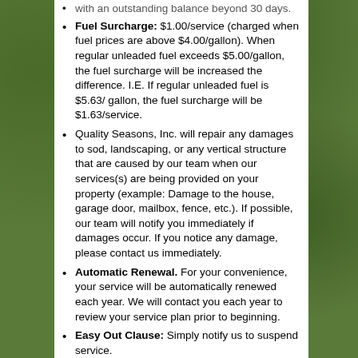Fuel Surcharge: $1.00/service (charged when fuel prices are above $4.00/gallon). When regular unleaded fuel exceeds $5.00/gallon, the fuel surcharge will be increased the difference. I.E. If regular unleaded fuel is $5.63/ gallon, the fuel surcharge will be $1.63/service.
Quality Seasons, Inc. will repair any damages to sod, landscaping, or any vertical structure that are caused by our team when our services(s) are being provided on your property (example: Damage to the house, garage door, mailbox, fence, etc.). If possible, our team will notify you immediately if damages occur. If you notice any damage, please contact us immediately.
Automatic Renewal. For your convenience, your service will be automatically renewed each year. We will contact you each year to review your service plan prior to beginning.
Easy Out Clause: Simply notify us to suspend service.
All sign-ups are subject to verification/on-site inspection.
Lawn & Landscape Maintenance Terms and Conditions: